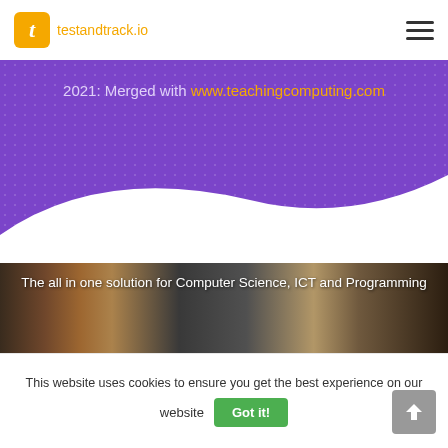[Figure (logo): testandtrack.io logo with orange 't' icon and orange text]
2021: Merged with www.teachingcomputing.com
[Figure (photo): The all in one solution for Computer Science, ICT and Programming - banner image with classroom/lighting photography]
This website uses cookies to ensure you get the best experience on our website
Got it!